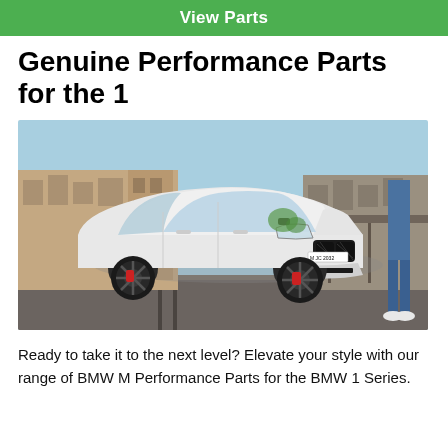View Parts
Genuine Performance Parts for the 1
[Figure (photo): White BMW 1 Series M Performance variant parked on an urban street with industrial buildings in the background. A person standing to the right in jeans and white sneakers is partially visible. The car has a German license plate reading M JC 2032, black alloy wheels, red brake calipers, and an aggressive front splitter.]
Ready to take it to the next level? Elevate your style with our range of BMW M Performance Parts for the BMW 1 Series.